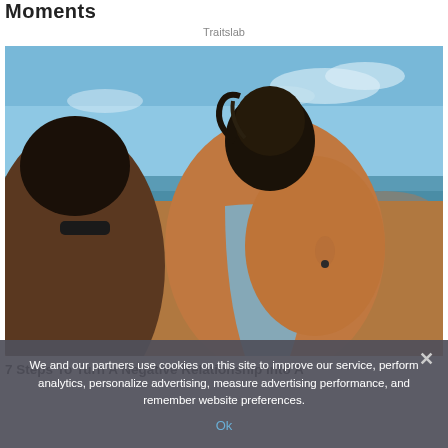Moments
Traitslab
[Figure (photo): A couple embracing outdoors at a beach, seen from behind. A woman with dark hair in a bun wearing a light blue bikini top, and a man beside her. Blue sky and ocean in the background.]
7 Steps To Turn A Negative Relationship Into A
We and our partners use cookies on this site to improve our service, perform analytics, personalize advertising, measure advertising performance, and remember website preferences.
Ok